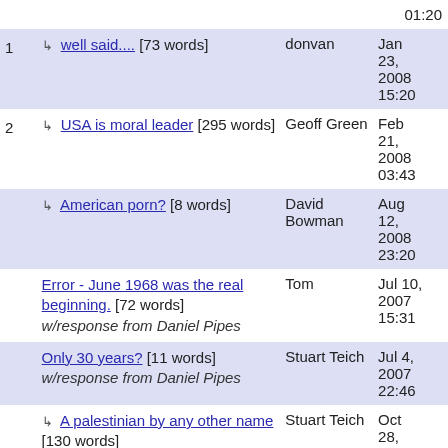| # | Comment | Author | Date |
| --- | --- | --- | --- |
|  | 01:20 |  |  |
| 1 | ↳ well said.... [73 words] | donvan | Jan 23, 2008 15:20 |
| 2 | ↳ USA is moral leader [295 words] | Geoff Green | Feb 21, 2008 03:43 |
|  | ↳ American porn? [8 words] | David Bowman | Aug 12, 2008 23:20 |
|  | Error - June 1968 was the real beginning. [72 words] w/response from Daniel Pipes | Tom | Jul 10, 2007 15:31 |
|  | Only 30 years? [11 words] w/response from Daniel Pipes | Stuart Teich | Jul 4, 2007 22:46 |
|  | ↳ A palestinian by any other name [130 words] | Stuart Teich | Oct 28, 2008 18:52 |
|  | Islamic Attacks on Americans Date Back to 1974 [104 words] | Gerry | Jul 3, 2007 11:41 |